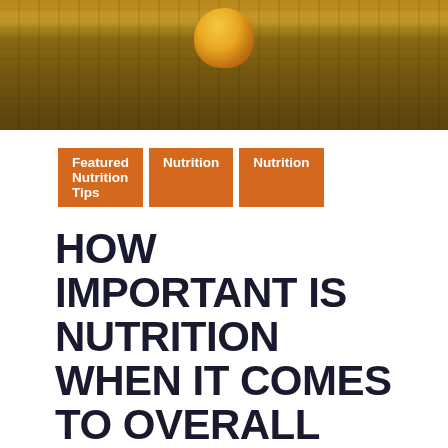[Figure (photo): Photo of food items including a yellow bell pepper and measuring tape on a wooden surface]
Featured Nutrition Tips | Nutrition | Nutrition
HOW IMPORTANT IS NUTRITION WHEN IT COMES TO OVERALL FITNESS?
By Power Life Team | February 21, 2020